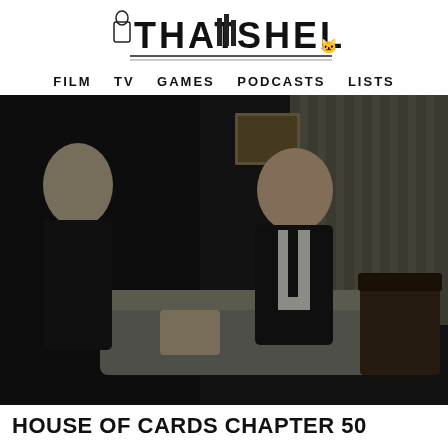[Figure (logo): That Shelf logo with FILM TV GAMES PODCASTS LISTS navigation bar]
[Figure (photo): Two people sitting on a couch in a dimly lit room, one facing away (blonde woman) and one facing forward (man in dark suit with tie), House of Cards scene]
HOUSE OF CARDS CHAPTER 50